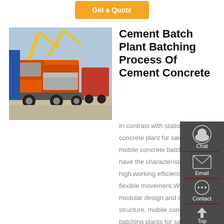[Figure (other): Orange 'Get a Quote' button at top center of page]
[Figure (photo): Photo of orange semi-trucks and cranes in a yard — mobile concrete batch plant trucks]
Cement Batch Plant Batching Process Of Cement Concrete
In contrast with stationary concrete plant for sale, mobile concrete batch plants have the characteristics of high working efficiency and flexible movement.With modular design and compact structure, mobile concrete batching plants for sale can be easily installed and transported, which greatly
[Figure (infographic): Floating dark side panel with Chat, Email, Contact, and Top navigation icons]